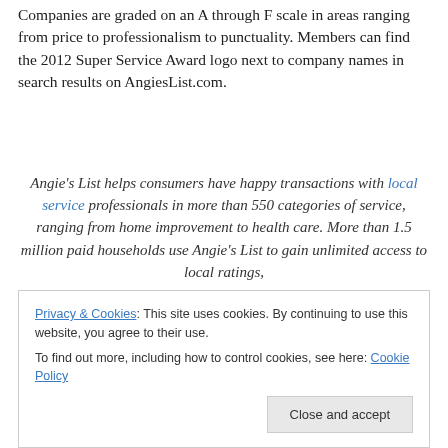Companies are graded on an A through F scale in areas ranging from price to professionalism to punctuality. Members can find the 2012 Super Service Award logo next to company names in search results on AngiesList.com.
Angie's List helps consumers have happy transactions with local service professionals in more than 550 categories of service, ranging from home improvement to health care. More than 1.5 million paid households use Angie's List to gain unlimited access to local ratings,
Privacy & Cookies: This site uses cookies. By continuing to use this website, you agree to their use. To find out more, including how to control cookies, see here: Cookie Policy